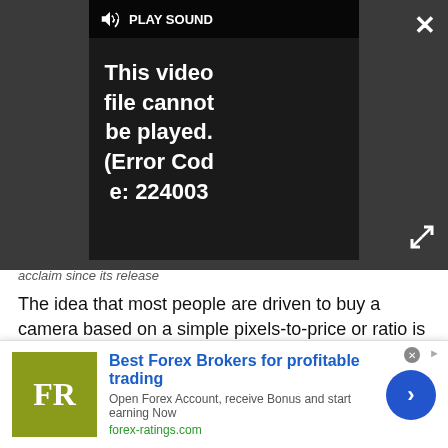[Figure (screenshot): Video player showing error message 'This video file cannot be played. (Error Code: 224003)' with PLAY SOUND button, close X button, and expand icon on dark background]
acclaim since its release
The idea that most people are driven to buy a camera based on a simple pixels-to-price or ratio is a strange one. Indeed, some of the most acclaimed cameras in both APS-C and full-frame camps offer a relatively low pixel-count-to-price ratio.
The Nikon D5 and D500 (above), together with Canon's EOS-1D X Mark II and the Sony A7S II are all
[Figure (screenshot): Advertisement banner for forex-ratings.com: 'Best Forex Brokers for profitable trading' with FR logo in olive green box and blue arrow button]